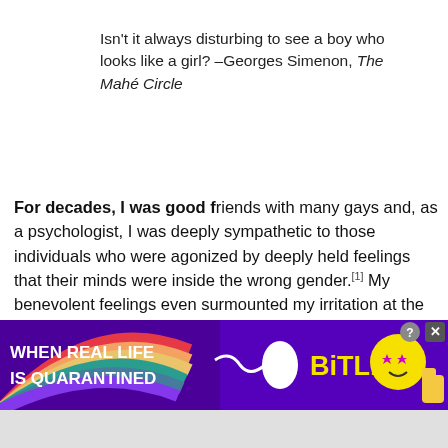Isn't it always disturbing to see a boy who looks like a girl? –Georges Simenon, The Mahé Circle
For decades, I was good friends with many gays and, as a psychologist, I was deeply sympathetic to those individuals who were agonized by deeply held feelings that their minds were inside the wrong gender.[1] My benevolent feelings even surmounted my irritation at the constant pro-gay propaganda in television and movies by liberals, where a beloved heterosexual character in a long running series (as in the campy Buffy the Vampire Slayer) for no reason…
[Figure (other): Advertisement banner for BitLife app with rainbow background, text 'WHEN REAL LIFE IS QUARANTINED' and 'BITLIFE' logo in yellow]